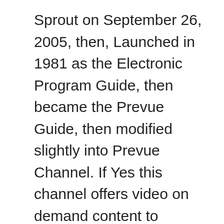Sprout on September 26, 2005, then, Launched in 1981 as the Electronic Program Guide, then became the Prevue Guide, then modified slightly into Prevue Channel. If Yes this channel offers video on demand content to providers. Limited time offer. In cooperation with The Washington Times. Interesting Facts about Macros and Preprocessors in C, Compiling a C program:- Behind the Scenes, Network Devices (Hub, Repeater, Bridge, Switch, Router, Gateways and Brouter), GATE | Quiz for Sudo GATE 2021 | Question 55, Volumes - Surface Area & Volumes | Class 9 Maths, Write Interview Create New Account. Since 2007, Sharma Cable Tv Network ( a subsidiary of Jawahar Park Cable Network